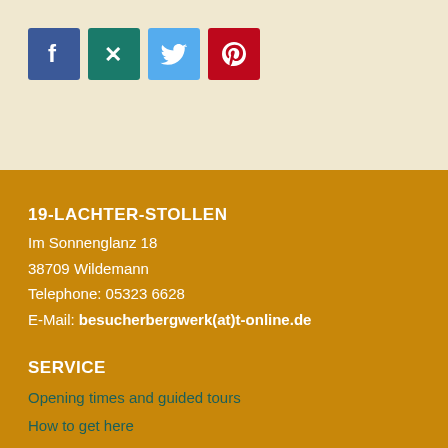[Figure (logo): Social media icons: Facebook (blue), Xing (teal), Twitter (light blue), Pinterest (red)]
19-LACHTER-STOLLEN
Im Sonnenglanz 18
38709 Wildemann
Telephone: 05323 6628
E-Mail: besucherbergwerk(at)t-online.de
SERVICE
Opening times and guided tours
How to get here
Guided tours